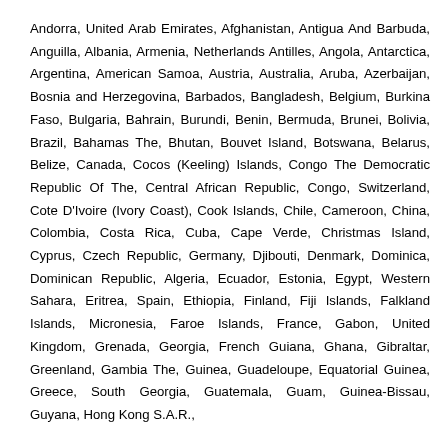Andorra, United Arab Emirates, Afghanistan, Antigua And Barbuda, Anguilla, Albania, Armenia, Netherlands Antilles, Angola, Antarctica, Argentina, American Samoa, Austria, Australia, Aruba, Azerbaijan, Bosnia and Herzegovina, Barbados, Bangladesh, Belgium, Burkina Faso, Bulgaria, Bahrain, Burundi, Benin, Bermuda, Brunei, Bolivia, Brazil, Bahamas The, Bhutan, Bouvet Island, Botswana, Belarus, Belize, Canada, Cocos (Keeling) Islands, Congo The Democratic Republic Of The, Central African Republic, Congo, Switzerland, Cote D'Ivoire (Ivory Coast), Cook Islands, Chile, Cameroon, China, Colombia, Costa Rica, Cuba, Cape Verde, Christmas Island, Cyprus, Czech Republic, Germany, Djibouti, Denmark, Dominica, Dominican Republic, Algeria, Ecuador, Estonia, Egypt, Western Sahara, Eritrea, Spain, Ethiopia, Finland, Fiji Islands, Falkland Islands, Micronesia, Faroe Islands, France, Gabon, United Kingdom, Grenada, Georgia, French Guiana, Ghana, Gibraltar, Greenland, Gambia The, Guinea, Guadeloupe, Equatorial Guinea, Greece, South Georgia, Guatemala, Guam, Guinea-Bissau, Guyana, Hong Kong S.A.R.,